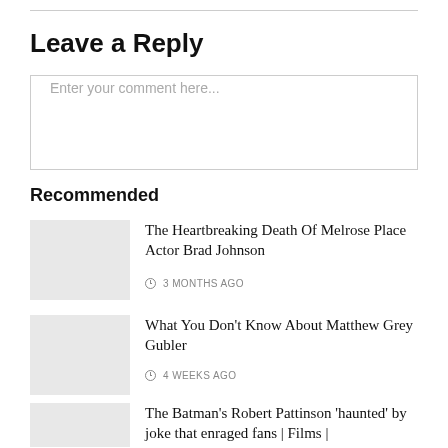Leave a Reply
Enter your comment here...
Recommended
The Heartbreaking Death Of Melrose Place Actor Brad Johnson
3 MONTHS AGO
What You Don't Know About Matthew Grey Gubler
4 WEEKS AGO
The Batman's Robert Pattinson 'haunted' by joke that enraged fans | Films |